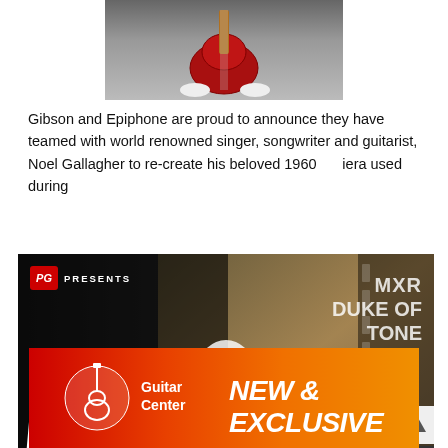[Figure (photo): Person holding a red semi-hollow guitar, cropped at torso, wearing white sneakers]
Gibson and Epiphone are proud to announce they have teamed with world renowned singer, songwriter and guitarist, Noel Gallagher to re-create his beloved 1960 iera used during
[Figure (screenshot): PG Presents video thumbnail showing MXR Duke of Tone with First Look badge and play button. Person holding a guitar visible in center. Social share icons (Facebook, Twitter, Email) on the right side. GIBSON label at bottom left.]
[Figure (photo): Guitar Center advertisement banner: orange-red gradient background with Guitar Center logo on left and 'NEW & EXCLUSIVE' text in white italic bold on right]